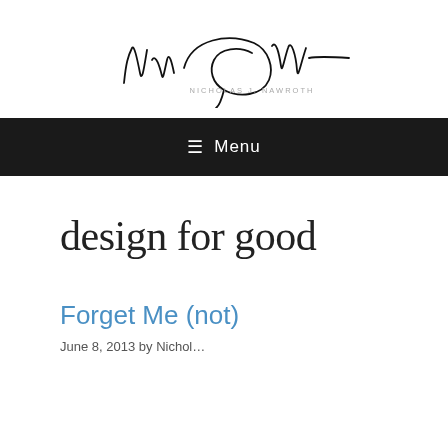[Figure (logo): Handwritten signature of Nicholas J. Nawroth with printed name below in gray uppercase letters]
☰ Menu
design for good
Forget Me (not)
June 8, 2013 by Nichol…